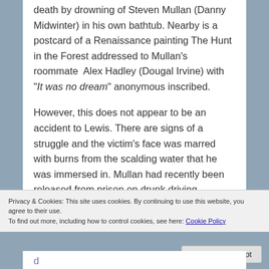death by drowning of Steven Mullan (Danny Midwinter) in his own bathtub. Nearby is a postcard of a Renaissance painting The Hunt in the Forest addressed to Mullan's roommate Alex Hadley (Dougal Irvine) with "It was no dream" anonymous inscribed.
However, this does not appear to be an accident to Lewis. There are signs of a struggle and the victim's face was marred with burns from the scalding water that he was immersed in. Mullan had recently been released from prison on drunk driving charges. Lewis recognizes the name and remembers the extended circumstances
Privacy & Cookies: This site uses cookies. By continuing to use this website, you agree to their use. To find out more, including how to control cookies, see here: Cookie Policy
Close and accept